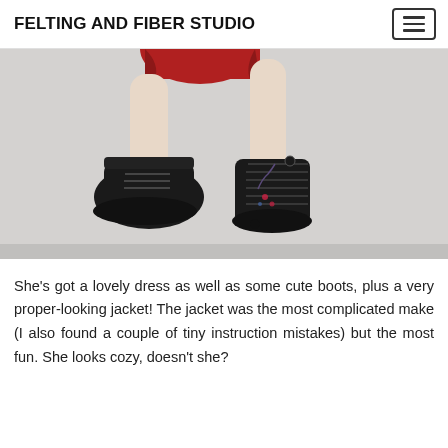FELTING AND FIBER STUDIO
[Figure (photo): Close-up photo of a doll or figurine wearing black lace-up boots, with legs raised up. The figure has a red dress visible at the top and a tattoo visible on one leg. The background is light grey.]
She's got a lovely dress as well as some cute boots, plus a very proper-looking jacket! The jacket was the most complicated make (I also found a couple of tiny instruction mistakes) but the most fun. She looks cozy, doesn't she?